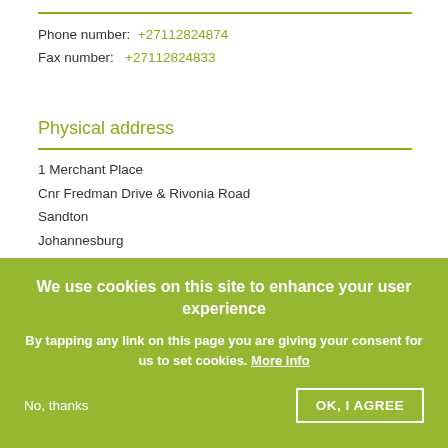Phone number: +27112824874
Fax number: +27112824833
Physical address
1 Merchant Place
Cnr Fredman Drive & Rivonia Road
Sandton
Johannesburg
2196
Postal address
P O Box 786273
SANDTON
2146
We use cookies on this site to enhance your user experience

By tapping any link on this page you are giving your consent for us to set cookies. More info

No, thanks    OK, I AGREE